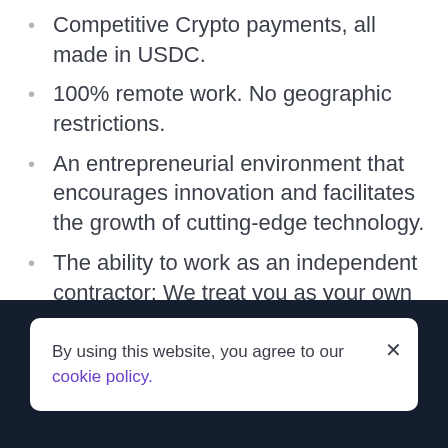Competitive Crypto payments, all made in USDC.
100% remote work. No geographic restrictions.
An entrepreneurial environment that encourages innovation and facilitates the growth of cutting-edge technology.
The ability to work as an independent contractor: We treat you as your own agent and support you accordingly!
Annual Working Equipment Allowance.
Monthly Gym & Fitness Bonus.
By using this website, you agree to our cookie policy.